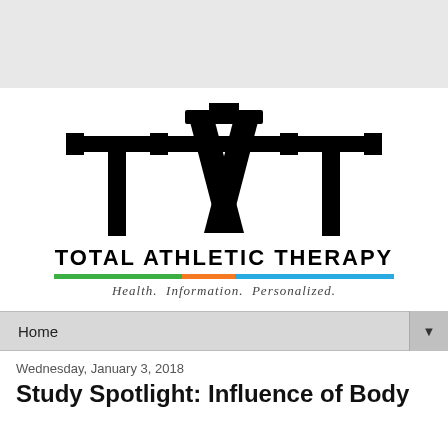[Figure (logo): Total Athletic Therapy logo featuring large stylized TAT letters in black, with the T letters having barbell-style ends and the A in the center. Below reads TOTAL ATHLETIC THERAPY with a tri-color bar (green, orange, blue) and tagline Health. Information. Personalized.]
Home
Wednesday, January 3, 2018
Study Spotlight: Influence of Body